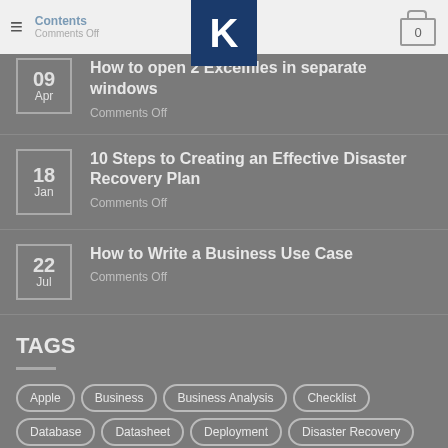Contents — Comments Off
09 Apr — How to open 2 Excelfiles in separate windows — Comments Off
18 Jan — 10 Steps to Creating an Effective Disaster Recovery Plan — Comments Off
22 Jul — How to Write a Business Use Case — Comments Off
TAGS
Apple, Business, Business Analysis, Checklist, Database, Datasheet, Deployment, Disaster Recovery, Excel, Finance, Form, Grant, HR, iWork, Log, Logs, Management, Manufacturing, Marketing, Market Research, Nuclear